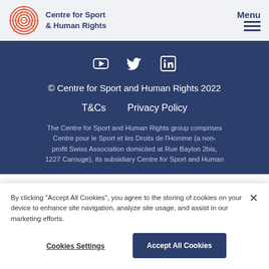Centre for Sport & Human Rights — Menu
[Figure (logo): Centre for Sport and Human Rights circular concentric rings logo in red/orange]
© Centre for Sport and Human Rights 2022
T&Cs   Privacy Policy
The Centre for Sport and Human Rights group comprises Centre pour le Sport et les Droits de l'Homme (a non-profit Swiss Association domiciled at Rue Baylon 2bis, 1227 Carouge), its subsidiary Centre for Sport and Human
By clicking "Accept All Cookies", you agree to the storing of cookies on your device to enhance site navigation, analyze site usage, and assist in our marketing efforts.
Cookies Settings   Accept All Cookies